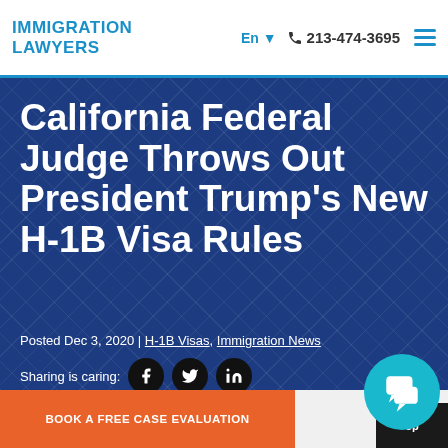IMMIGRATION LAWYERS | En | 213-474-3695
California Federal Judge Throws Out President Trump’s New H-1B Visa Rules
Posted Dec 3, 2020 | H-1B Visas, Immigration News
Sharing is caring:
BOOK A FREE CASE EVALUATION